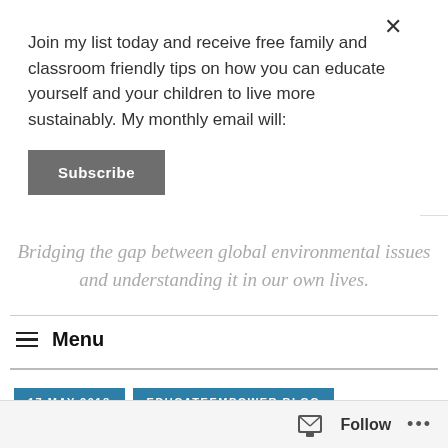Join my list today and receive free family and classroom friendly tips on how you can educate yourself and your children to live more sustainably. My monthly email will:
Subscribe
Bridging the gap between global environmental issues and understanding it in our own lives.
Menu
17 MAY 2018
EDUCATEEMPOWER.BLOG
Follow